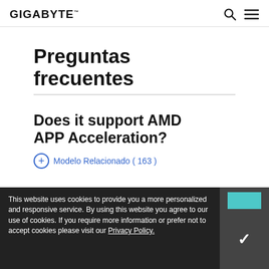GIGABYTE
Preguntas frecuentes
Does it support AMD APP Acceleration?
Modelo Relacionado ( 163 )
This website uses cookies to provide you a more personalized and responsive service. By using this website you agree to our use of cookies. If you require more information or prefer not to accept cookies please visit our Privacy Policy.